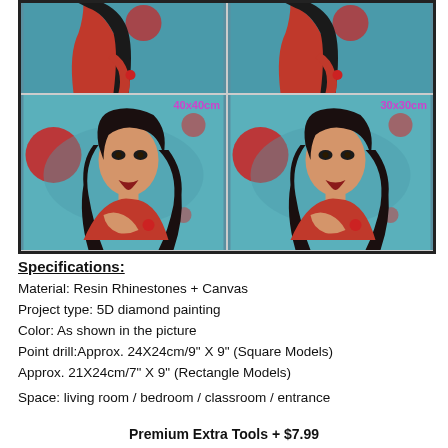[Figure (photo): Four-panel grid showing a woman in a red dress with dark curly hair against a teal background with red circles/roses. Top two panels show a cropped view of her back/shoulder, bottom two panels show a front-facing portrait. Bottom-left panel labeled '40x40cm', bottom-right labeled '30x30cm' in purple text.]
Specifications:
Material: Resin Rhinestones + Canvas
Project type: 5D diamond painting
Color: As shown in the picture
Point drill:Approx. 24X24cm/9" X 9" (Square Models)
Approx. 21X24cm/7" X 9" (Rectangle Models)
Space: living room / bedroom / classroom / entrance
Premium Extra Tools + $7.99